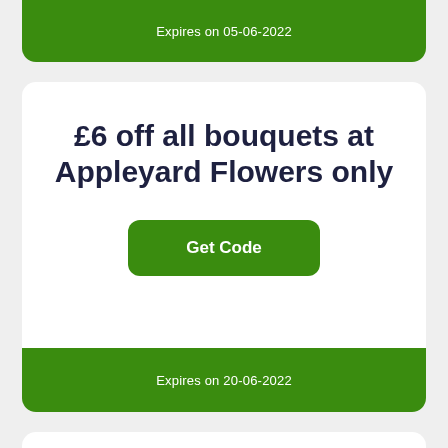Expires on 05-06-2022
£6 off all bouquets at Appleyard Flowers only
Get Code
Expires on 20-06-2022
£8 off all bouquets over